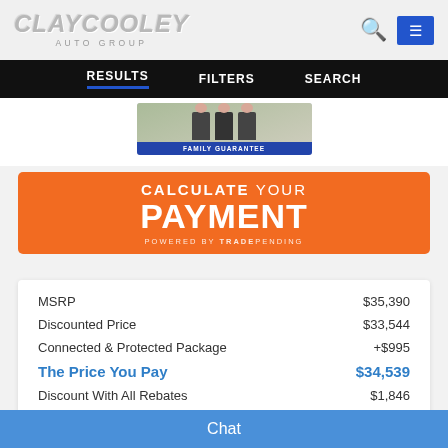Clay Cooley Auto Group
RESULTS  FILTERS  SEARCH
[Figure (photo): Family Guarantee badge with three people in suits and a blue ribbon banner reading FAMILY GUARANTEE]
[Figure (infographic): Calculate Your Payment orange banner, powered by TradePending]
| Item | Price |
| --- | --- |
| MSRP | $35,390 |
| Discounted Price | $33,544 |
| Connected & Protected Package | +$995 |
| The Price You Pay | $34,539 |
| Discount With All Rebates | $1,846 |
Chat